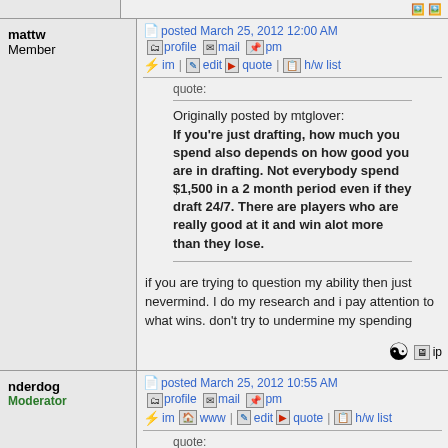mattw
Member
posted March 25, 2012 12:00 AM  profile  mail  pm  im  edit  quote  h/w list
quote:
Originally posted by mtglover:
If you're just drafting, how much you spend also depends on how good you are in drafting. Not everybody spend $1,500 in a 2 month period even if they draft 24/7. There are players who are really good at it and win alot more than they lose.
if you are trying to question my ability then just nevermind. I do my research and i pay attention to what wins. don't try to undermine my spending
nderdog
Moderator
posted March 25, 2012 10:55 AM  profile  mail  pm  im  www  edit  quote  h/w list
quote: